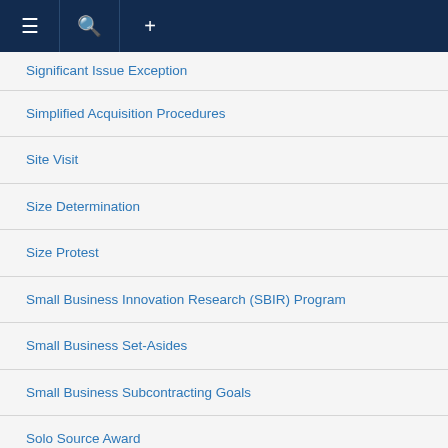Navigation bar with menu, search, and add icons
Significant Issue Exception
Simplified Acquisition Procedures
Site Visit
Size Determination
Size Protest
Small Business Innovation Research (SBIR) Program
Small Business Set-Asides
Small Business Subcontracting Goals
Solo Source Award